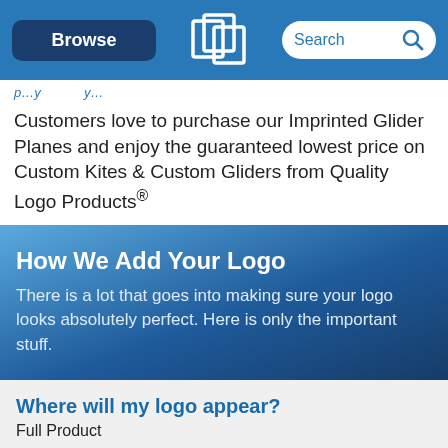Browse | [Logo] | Search
Customers love to purchase our Imprinted Glider Planes and enjoy the guaranteed lowest price on Custom Kites & Custom Gliders from Quality Logo Products®
How We Add Your Logo
There is a lot that goes into making sure your logo looks absolutely perfect. Here is only the important stuff.
Where will my logo appear?
Full Product
What size will my logo be?